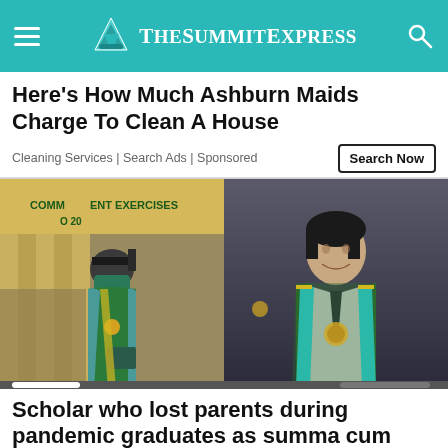The Summit Express
Here's How Much Ashburn Maids Charge To Clean A House
Cleaning Services | Search Ads | Sponsored
[Figure (photo): Two graduation photos side by side: left shows a male graduate wearing a green toga, blue sash with gold trim, graduation cap, face mask, and holding a diploma at a commencement exercises ceremony with a banner reading commencement exercises in the background; right shows a young male graduate in a green toga with teal and gold sash, smiling, wearing a white shirt and dark tie, against a dark background.]
Scholar who lost parents during pandemic graduates as summa cum laude, batch